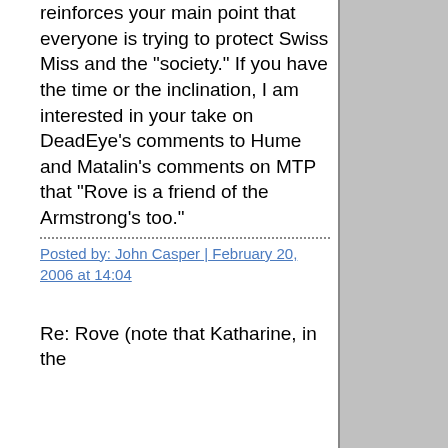reinforces your main point that everyone is trying to protect Swiss Miss and the "society." If you have the time or the inclination, I am interested in your take on DeadEye's comments to Hume and Matalin's comments on MTP that "Rove is a friend of the Armstrong's too."
Posted by: John Casper | February 20, 2006 at 14:04
Re: Rove (note that Katharine, in the